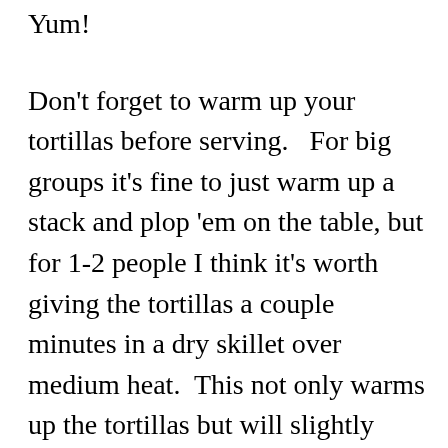Yum!
Don't forget to warm up your tortillas before serving.   For big groups it's fine to just warm up a stack and plop 'em on the table, but for 1-2 people I think it's worth giving the tortillas a couple minutes in a dry skillet over medium heat.  This not only warms up the tortillas but will slightly crisp them up as a bonus.
Okay, let me know if you have any questions about these Tacos de Alambre.  I think this